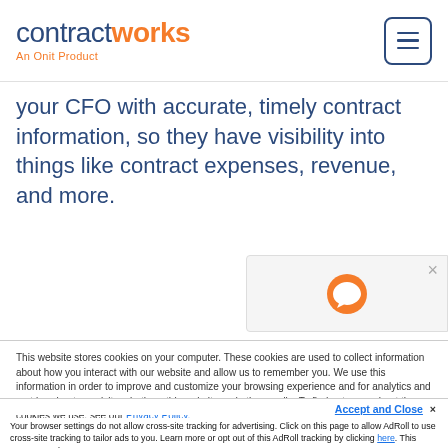[Figure (logo): ContractWorks logo — 'contract' in dark blue, 'works' in orange bold, tagline 'An Onit Product' in orange below]
your CFO with accurate, timely contract information, so they have visibility into things like contract expenses, revenue, and more.
[Figure (screenshot): Onit chat/support widget icon — orange circular Onit logo with close X button on light gray background]
This website stores cookies on your computer. These cookies are used to collect information about how you interact with our website and allow us to remember you. We use this information in order to improve and customize your browsing experience and for analytics and metrics about our visitors both on this website and other media. To find out more about the cookies we use, see our Privacy Policy.
Accept and Close ×
Your browser settings do not allow cross-site tracking for advertising. Click on this page to allow AdRoll to use cross-site tracking to tailor ads to you. Learn more or opt out of this AdRoll tracking by clicking here. This message only appears once.